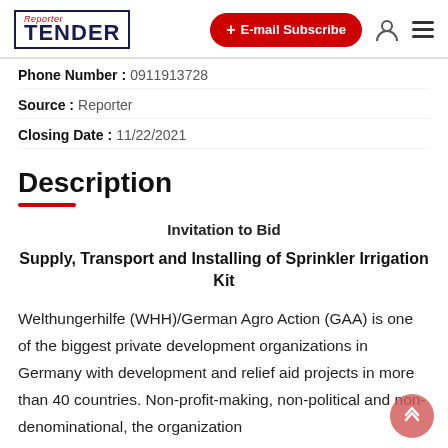Reporter TENDER | + E-mail Subscribe
Phone Number : 0911913728
Source : Reporter
Closing Date : 11/22/2021
Description
Invitation to Bid
Supply, Transport and Installing of Sprinkler Irrigation Kit
Welthungerhilfe (WHH)/German Agro Action (GAA) is one of the biggest private development organizations in Germany with development and relief aid projects in more than 40 countries. Non-profit-making, non-political and non-denominational, the organization